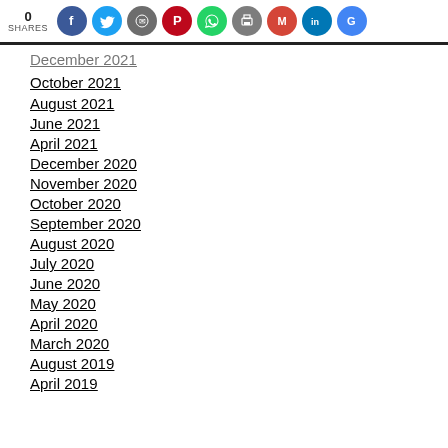[Figure (infographic): Social share bar showing 0 SHARES with icons for Facebook, Twitter, Reddit, Pinterest, WhatsApp, Print, Gmail, LinkedIn, and Google]
December 2021 (partially visible)
October 2021
August 2021
June 2021
April 2021
December 2020
November 2020
October 2020
September 2020
August 2020
July 2020
June 2020
May 2020
April 2020
March 2020
August 2019
April 2019